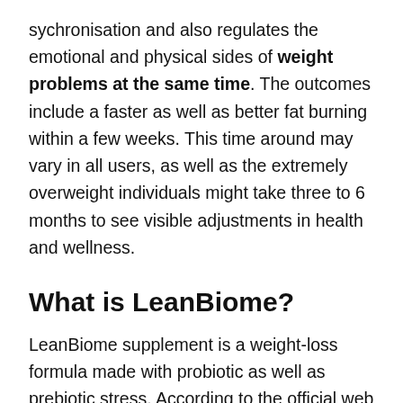sychronisation and also regulates the emotional and physical sides of weight problems at the same time. The outcomes include a faster as well as better fat burning within a few weeks. This time around may vary in all users, as well as the extremely overweight individuals might take three to 6 months to see visible adjustments in health and wellness.
What is LeanBiome?
LeanBiome supplement is a weight-loss formula made with probiotic as well as prebiotic stress. According to the official web site, this probiotic mix deals with clearing the body from toxins, oxidative anxiety, complimentary radicals, as well